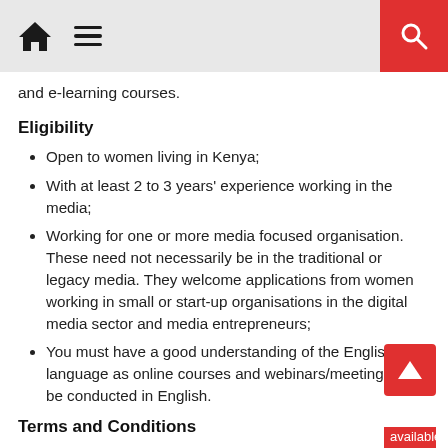[Navigation bar with home icon, menu icon, and search button]
and e-learning courses.
Eligibility
Open to women living in Kenya;
With at least 2 to 3 years' experience working in the media;
Working for one or more media focused organisation. These need not necessarily be in the traditional or legacy media. They welcome applications from women working in small or start-up organisations in the digital media sector and media entrepreneurs;
You must have a good understanding of the English language as online courses and webinars/meetings will be conducted in English.
Terms and Conditions
The competition is open to entrants aged 18 or over.
Selected applicants are responsible for ensuring they are available